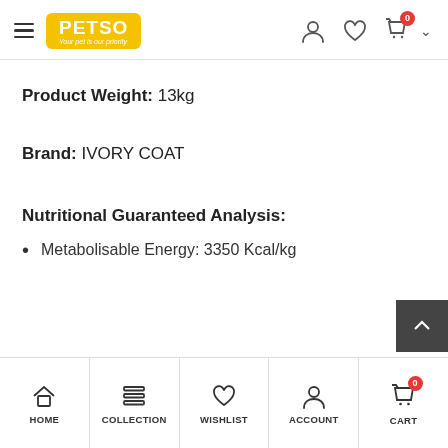PETSO - Your pet is our priority
Product Weight: 13kg
Brand: IVORY COAT
Nutritional Guaranteed Analysis:
Metabolisable Energy: 3350 Kcal/kg
HOME | COLLECTION | WISHLIST | ACCOUNT | CART